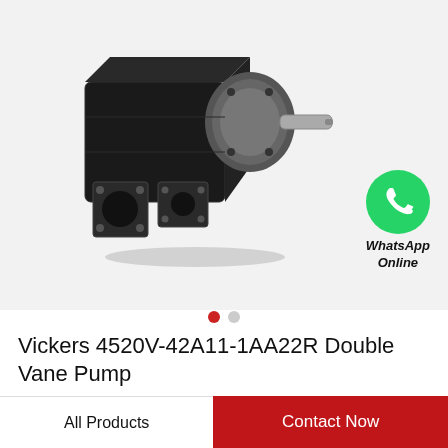[Figure (photo): Vickers 4520V-42A11-1AA22R Double Vane Pump — a black cast-iron hydraulic double vane pump with mounting flanges, bolt holes, and a protruding steel shaft on the right side.]
[Figure (logo): WhatsApp green circle icon with phone handset, labeled 'WhatsApp Online' in italic bold text below.]
Vickers 4520V-42A11-1AA22R Double Vane Pump
All Products
Contact Now